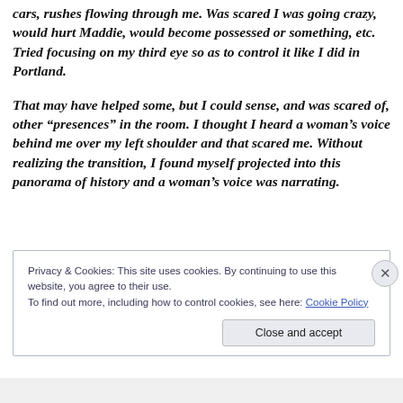cars, rushes flowing through me. Was scared I was going crazy, would hurt Maddie, would become possessed or something, etc. Tried focusing on my third eye so as to control it like I did in Portland.

That may have helped some, but I could sense, and was scared of, other “presences” in the room. I thought I heard a woman’s voice behind me over my left shoulder and that scared me. Without realizing the transition, I found myself projected into this panorama of history and a woman’s voice was narrating.
[Figure (screenshot): Cookie consent banner with text about privacy and cookies policy, a close button (X), and a 'Close and accept' button.]